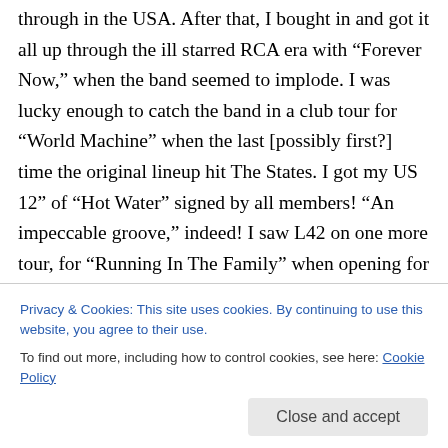through in the USA. After that, I bought in and got it all up through the ill starred RCA era with “Forever Now,” when the band seemed to implode. I was lucky enough to catch the band in a club tour for “World Machine” when the last [possibly first?] time the original lineup hit The States. I got my US 12” of “Hot Water” signed by all members! “An impeccable groove,” indeed! I saw L42 on one more tour, for “Running In The Family” when opening for Tina Turner in a huge arena. My friend and I had very excellent seats
Privacy & Cookies: This site uses cookies. By continuing to use this website, you agree to their use.
To find out more, including how to control cookies, see here: Cookie Policy
meet fans afterward. Especially those who would